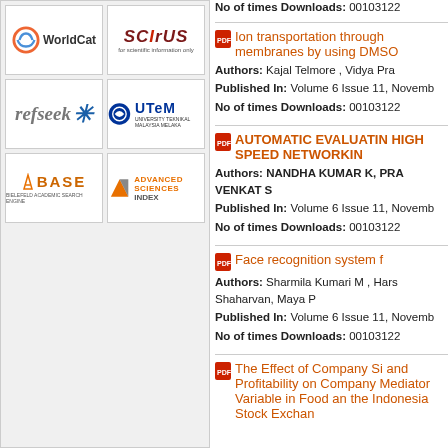[Figure (logo): WorldCat logo]
[Figure (logo): Scirus logo - for scientific information only]
[Figure (logo): refseek logo with blue star]
[Figure (logo): UTeM University Teknikal Malaysia Melaka logo]
[Figure (logo): BASE - Bielefeld Academic Search Engine logo]
[Figure (logo): Advanced Sciences Index logo]
No of times Downloads: 00103122
Ion transportation through membranes by using DMSO
Authors: Kajal Telmore , Vidya Pra
Published In: Volume 6 Issue 11, Novemb
No of times Downloads: 00103122
AUTOMATIC EVALUATIN HIGH SPEED NETWORKIN
Authors: NANDHA KUMAR K, PRA VENKAT S
Published In: Volume 6 Issue 11, Novemb
No of times Downloads: 00103122
Face recognition system f
Authors: Sharmila Kumari M , Hars Shaharvan, Maya P
Published In: Volume 6 Issue 11, Novemb
No of times Downloads: 00103122
The Effect of Company Si and Profitability on Company Mediator Variable in Food an the Indonesia Stock Exchan